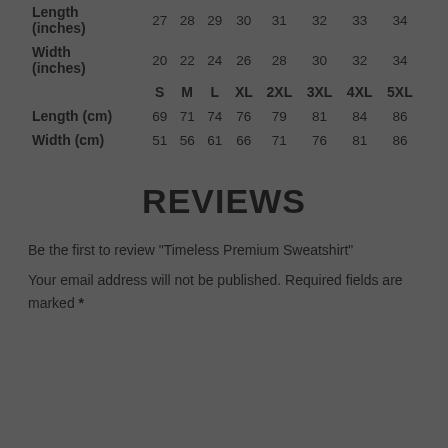|  | S | M | L | XL | 2XL | 3XL | 4XL | 5XL |
| --- | --- | --- | --- | --- | --- | --- | --- | --- |
| Length (inches) | 27 | 28 | 29 | 30 | 31 | 32 | 33 | 34 |
| Width (inches) | 20 | 22 | 24 | 26 | 28 | 30 | 32 | 34 |
| Length (cm) | 69 | 71 | 74 | 76 | 79 | 81 | 84 | 86 |
| Width (cm) | 51 | 56 | 61 | 66 | 71 | 76 | 81 | 86 |
REVIEWS
Be the first to review "Timeless Premium Sweatshirt"
Your email address will not be published. Required fields are marked *